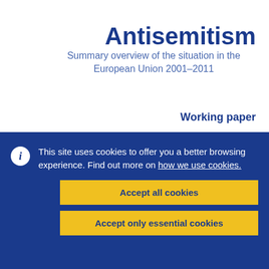Antisemitism
Summary overview of the situation in the European Union 2001–2011
Working paper
This site uses cookies to offer you a better browsing experience. Find out more on how we use cookies.
Accept all cookies
Accept only essential cookies